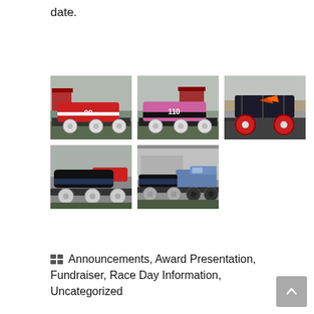date.
[Figure (photo): Five photos of race cars on trailers, shown in a 3+2 grid layout. Top row: red stock car #00 on trailer, pink/black stock car #110 on trailer, dark off-road buggy with red wheels on trailer. Bottom row: black stock car on trailer, black race car being towed by a truck.]
Announcements, Award Presentation, Fundraiser, Race Day Information, Uncategorized